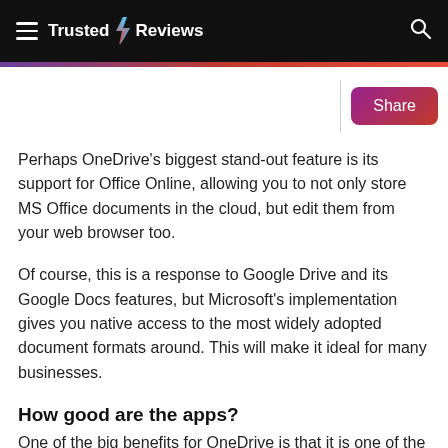Trusted Reviews
Perhaps OneDrive's biggest stand-out feature is its support for Office Online, allowing you to not only store MS Office documents in the cloud, but edit them from your web browser too.
Of course, this is a response to Google Drive and its Google Docs features, but Microsoft's implementation gives you native access to the most widely adopted document formats around. This will make it ideal for many businesses.
How good are the apps?
One of the big benefits for OneDrive is that it is one of the only cloud services on this list that has proper Windows Phone integration. Dropbox aside, so if that's your mobile